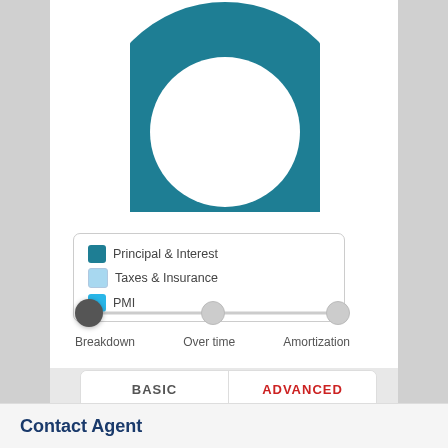[Figure (donut-chart): Partial donut/pie chart visible at top of page, showing mortgage payment breakdown. Large dark teal segment visible.]
Principal & Interest   Taxes & Insurance
PMI
[Figure (infographic): Horizontal slider with three positions: Breakdown (selected, dark circle), Over time (grey circle), Amortization (grey circle)]
BASIC   ADVANCED
Purchase price
$ 2,695
Contact Agent